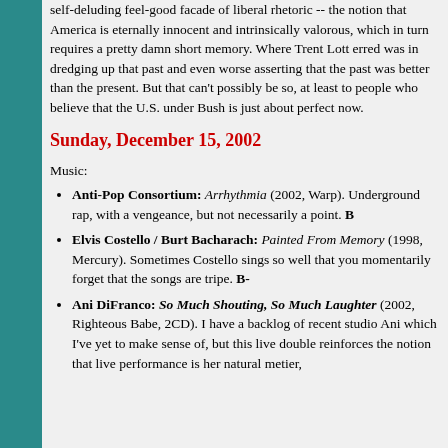self-deluding feel-good facade of liberal rhetoric -- the notion that America is eternally innocent and intrinsically valorous, which in turn requires a pretty damn short memory. Where Trent Lott erred was in dredging up that past and even worse asserting that the past was better than the present. But that can't possibly be so, at least to people who believe that the U.S. under Bush is just about perfect now.
Sunday, December 15, 2002
Music:
Anti-Pop Consortium: Arrhythmia (2002, Warp). Underground rap, with a vengeance, but not necessarily a point. B
Elvis Costello / Burt Bacharach: Painted From Memory (1998, Mercury). Sometimes Costello sings so well that you momentarily forget that the songs are tripe. B-
Ani DiFranco: So Much Shouting, So Much Laughter (2002, Righteous Babe, 2CD). I have a backlog of recent studio Ani which I've yet to make sense of, but this live double reinforces the notion that live performance is her natural metier,